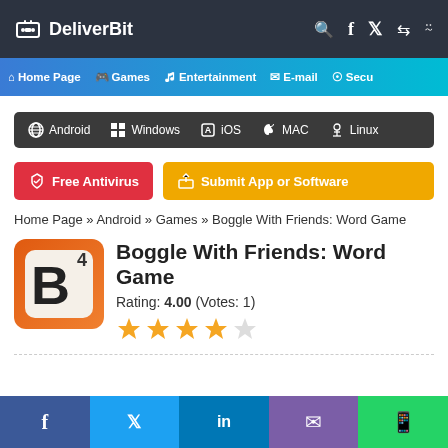DeliverBit
Home Page   Games   Entertainment   E-mail   Secu
[Figure (screenshot): Platform navigation bar with Android, Windows, iOS, MAC, Linux icons]
[Figure (infographic): Free Antivirus and Submit App or Software buttons]
Home Page » Android » Games » Boggle With Friends: Word Game
Boggle With Friends: Word Game
Rating: 4.00 (Votes: 1)
[Figure (infographic): 4 out of 5 stars rating display]
f   Twitter   in   Email   WhatsApp